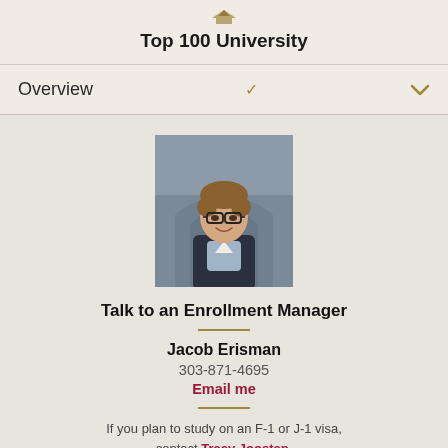Top 100 University
Overview
[Figure (photo): Headshot photo of Jacob Erisman, a young man with glasses and brown hair wearing a dark jacket and light blue shirt, smiling, with an arched architectural background.]
Talk to an Enrollment Manager
Jacob Erisman
303-871-4695
Email me
If you plan to study on an F-1 or J-1 visa, contact Tracy Joosten.